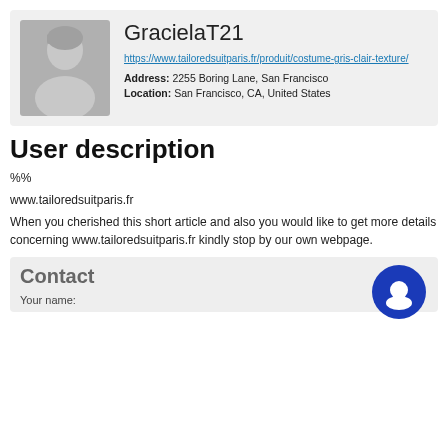[Figure (illustration): User profile avatar placeholder silhouette of a person on a gray background, alongside username GracielaT21, a URL link, address, and location information.]
User description
%%
www.tailoredsuitparis.fr
When you cherished this short article and also you would like to get more details concerning www.tailoredsuitparis.fr kindly stop by our own webpage.
Contact
Your name: